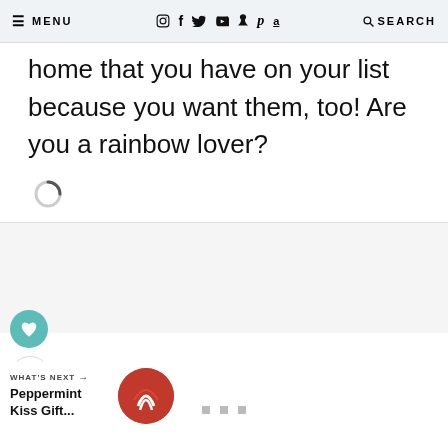≡ MENU  [instagram] [facebook] [twitter] [youtube] [tiktok] [pinterest] [amazon]  🔍 SEARCH
home that you have on your list because you want them, too! Are you a rainbow lover?
[Figure (other): Loading spinner icon (circular loading indicator)]
[Figure (other): Gray content placeholder area]
[Figure (other): Teal heart button (save/favorite icon) and white share button with share icon]
WHAT'S NEXT →
Peppermint Kiss Gift...
[Figure (other): Circular thumbnail image for Peppermint Kiss Gift article, red background with candy cane design]
[Figure (other): Three gray navigation dots]